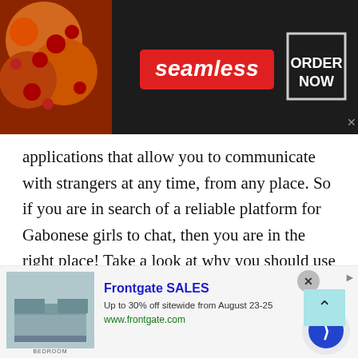[Figure (screenshot): Seamless food delivery advertisement banner with pizza image on left, red 'seamless' badge in center, and white 'ORDER NOW' text in bordered box on right, on dark background]
applications that allow you to communicate with strangers at any time, from any place. So if you are in search of a reliable platform for Gabonese girls to chat, then you are in the right place! Take a look at why you should use TalkWithStranger for video chatting with strangers online.
The world is full of spectacular people, and since most of these people use the internet, it is a brilliant idea to connect them through talkwithstranger chat site.
[Figure (screenshot): Frontgate SALES advertisement: bedroom image on left, bold blue title 'Frontgate SALES', 'Up to 30% off sitewide from August 23-25', green URL 'www.frontgate.com', navigation circle button on right]